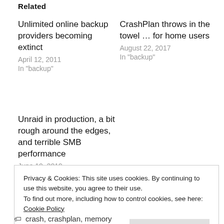Related
Unlimited online backup providers becoming extinct
April 12, 2011
In "backup"
CrashPlan throws in the towel ... for home users
August 22, 2017
In "backup"
Unraid in production, a bit rough around the edges, and terrible SMB performance
June 10, 2019
In "performance"
Privacy & Cookies: This site uses cookies. By continuing to use this website, you agree to their use.
To find out more, including how to control cookies, see here: Cookie Policy
Close and accept
crash, crashplan, memory